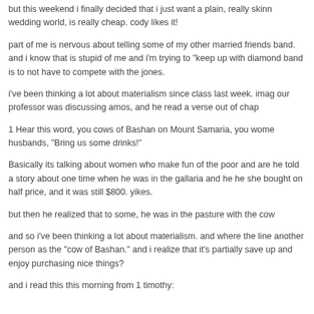but this weekend i finally decided that i just want a plain, really skinn wedding world, is really cheap. cody likes it!
part of me is nervous about telling some of my other married friends band. and i know that is stupid of me and i'm trying to "keep up with diamond band is to not have to compete with the jones.
i've been thinking a lot about materialism since class last week. ima our professor was discussing amos, and he read a verse out of chap
1 Hear this word, you cows of Bashan on Mount Samaria, you wome husbands, "Bring us some drinks!"
Basically its talking about women who make fun of the poor and are he told a story about one time when he was in the gallaria and he he she bought on half price, and it was still $800. yikes.
but then he realized that to some, he was in the pasture with the cow
and so i've been thinking a lot about materialism. and where the line another person as the "cow of Bashan." and i realize that it's partially save up and enjoy purchasing nice things?
and i read this this morning from 1 timothy: